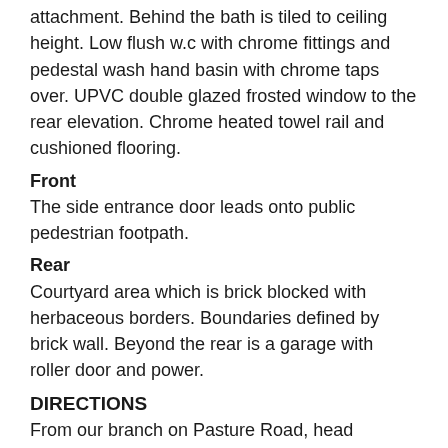attachment. Behind the bath is tiled to ceiling height. Low flush w.c with chrome fittings and pedestal wash hand basin with chrome taps over. UPVC double glazed frosted window to the rear elevation. Chrome heated towel rail and cushioned flooring.
Front
The side entrance door leads onto public pedestrian footpath.
Rear
Courtyard area which is brick blocked with herbaceous borders. Boundaries defined by brick wall. Beyond the rear is a garage with roller door and power.
DIRECTIONS
From our branch on Pasture Road, head towards Centenary Road and at the mini roundabout, take the first exit onto Centenary Road. Take the second turning on your right hand side onto Jackson Street. The property is the first property on the right hand side with it's entrance door facing Centenary Road. The property can be clearly identified by our Park Row Properties ‘For Sale’ board.